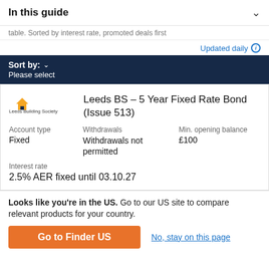In this guide
table. Sorted by interest rate, promoted deals first
Updated daily
Sort by:  Please select
[Figure (logo): Leeds Building Society logo — yellow house icon above text reading 'Leeds Building Society']
Leeds BS – 5 Year Fixed Rate Bond (Issue 513)
Account type
Fixed
Withdrawals
Withdrawals not permitted
Min. opening balance
£100
Interest rate
2.5% AER fixed until 03.10.27
Looks like you're in the US. Go to our US site to compare relevant products for your country.
Go to Finder US
No, stay on this page